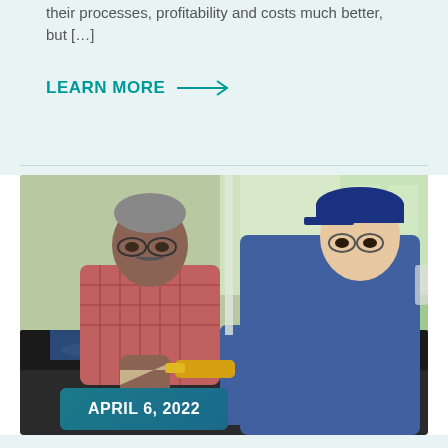their processes, profitability and costs much better, but […]
LEARN MORE →
[Figure (photo): A mechanic in blue uniform and cap with glasses using a flashlight to inspect a car engine, alongside an older man in a red checked shirt also looking at the engine in an auto repair shop.]
APRIL 6, 2022